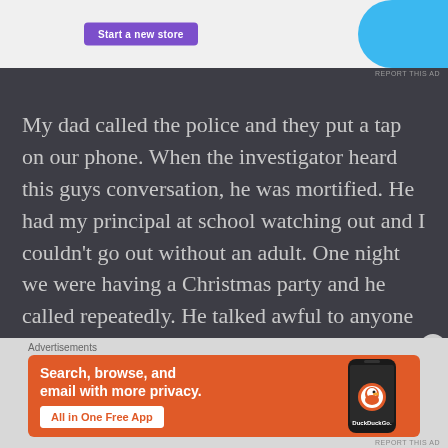[Figure (screenshot): Top advertisement banner with purple 'Start a new store' button and blue decorative shape on a white background]
My dad called the police and they put a tap on our phone. When the investigator heard this guys conversation, he was mortified. He had my principal at school watching out and I couldn't go out without an adult. One night we were having a Christmas party and he called repeatedly. He talked awful to anyone who mistakenly answered. I got to the breaking point. I lost weight, I stopped eating. I was scared. He was watching me at a distance, but nobody could
[Figure (screenshot): DuckDuckGo advertisement on orange background showing 'Search, browse, and email with more privacy. All in One Free App' with phone image and DuckDuckGo logo]